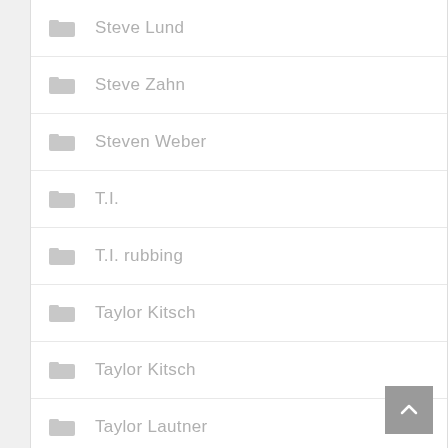Steve Lund
Steve Zahn
Steven Weber
T.I.
T.I. rubbing
Taylor Kitsch
Taylor Kitsch
Taylor Lautner
Taylor Lautner
Ted Danson
The Fighter
Theo Rossi